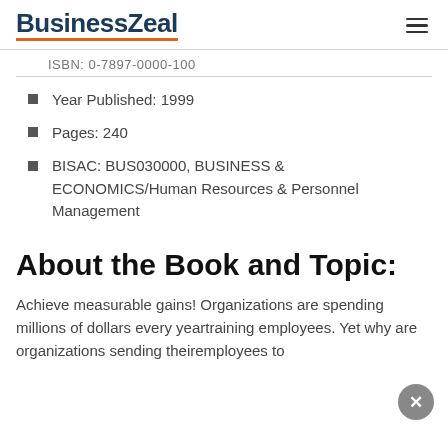BusinessZeal
ISBN: 0-7897-0000-100
Year Published: 1999
Pages: 240
BISAC: BUS030000, BUSINESS & ECONOMICS/Human Resources & Personnel Management
About the Book and Topic:
Achieve measurable gains! Organizations are spending millions of dollars every yeartraining employees. Yet why are organizations sending theiremployees to